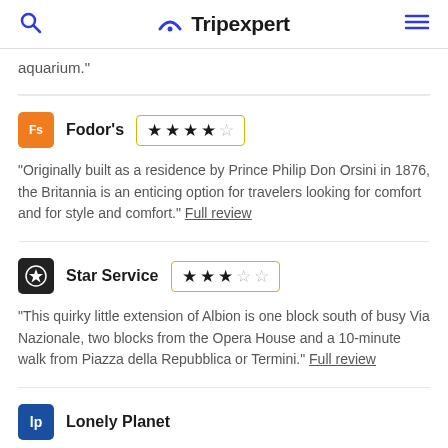Tripexpert
aquarium."
Fodor's ★★★★☆
"Originally built as a residence by Prince Philip Don Orsini in 1876, the Britannia is an enticing option for travelers looking for comfort and for style and comfort." Full review
Star Service ★★★☆☆
"This quirky little extension of Albion is one block south of busy Via Nazionale, two blocks from the Opera House and a 10-minute walk from Piazza della Repubblica or Termini." Full review
Lonely Planet